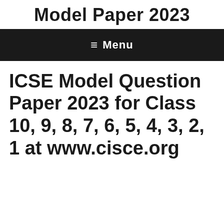Model Paper 2023
≡ Menu
ICSE Model Question Paper 2023 for Class 10, 9, 8, 7, 6, 5, 4, 3, 2, 1 at www.cisce.org